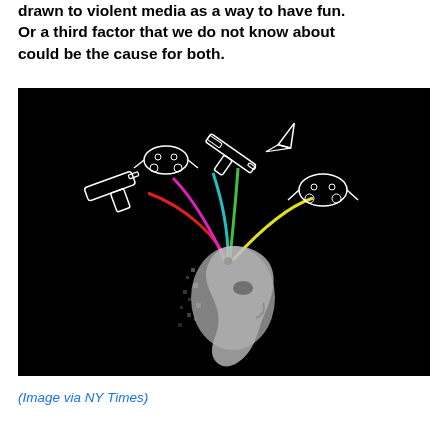drawn to violent media as a way to have fun. Or a third factor that we do not know about could be the cause for both.
[Figure (illustration): Black background illustration showing a side-profile of a human head with colorful wires (red, magenta, teal, green, yellow) flowing from the head up to various weapons and game controllers (handgun, submachine gun, knife, PlayStation controllers), suggesting a connection between violent media and the mind.]
(Image via NY Times)